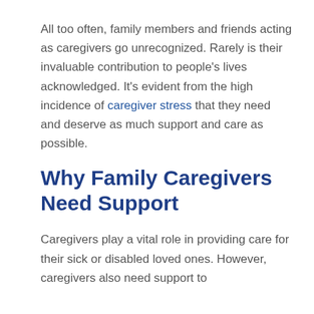All too often, family members and friends acting as caregivers go unrecognized. Rarely is their invaluable contribution to people's lives acknowledged. It's evident from the high incidence of caregiver stress that they need and deserve as much support and care as possible.
Why Family Caregivers Need Support
Caregivers play a vital role in providing care for their sick or disabled loved ones. However, caregivers also need support to